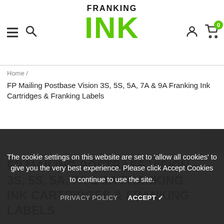[Figure (logo): Franking Ink logo with FRANKING in black bold uppercase and INK in large green bold uppercase]
Home /
FP Mailing Postbase Vision 3S, 5S, 5A, 7A & 9A Franking Ink Cartridges & Franking Labels
FP MAILING POSTBASE VISION 3S, 5S, 5A, 7A & 9A FRANKING INK CARTRIDGES & FRANKING LABELS
The cookie settings on this website are set to 'allow all cookies' to give you the very best experience. Please click Accept Cookies to continue to use the site.
PRIVACY POLICY    ACCEPT ✔